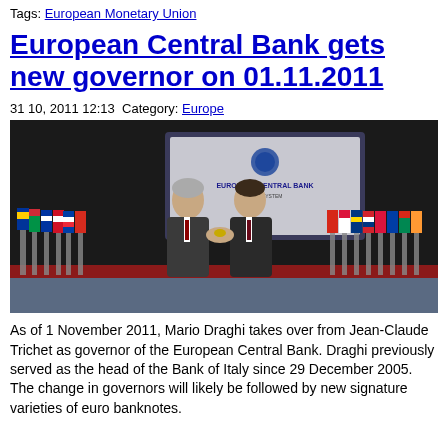Tags: European Monetary Union
European Central Bank gets new governor on 01.11.2011
31 10, 2011 12:13 Category: Europe
[Figure (photo): Two men in suits shaking hands on a stage with European Central Bank banner/screen behind them, surrounded by European country flags on a red-carpeted stage.]
As of 1 November 2011, Mario Draghi takes over from Jean-Claude Trichet as governor of the European Central Bank. Draghi previously served as the head of the Bank of Italy since 29 December 2005. The change in governors will likely be followed by new signature varieties of euro banknotes.